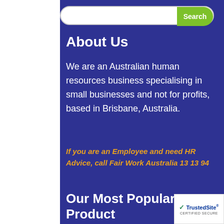[Figure (screenshot): Search bar with green Search button on blue background]
About Us
We are an Australian human resources business specialising in small businesses and not for profits, based in Brisbane, Australia.
If you are an Employee and need HR Advice, call Fair Work Australia 13 13 94
Our Most Popular HR Product
[Figure (logo): TrustedSite Certified Secure badge]